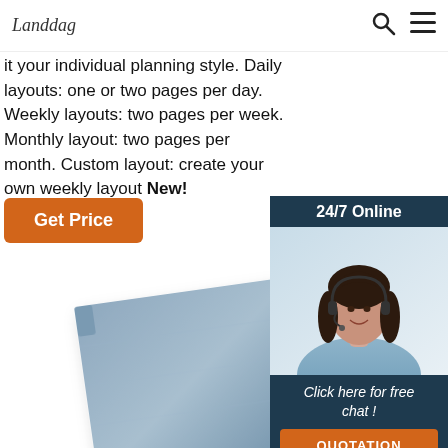Landdag [logo] | search icon | menu icon
it your individual planning style. Daily layouts: one or two pages per day. Weekly layouts: two pages per week. Monthly layout: two pages per month. Custom layout: create your own weekly layout New!
Get Price
[Figure (photo): Chat widget with '24/7 Online' header, photo of a woman with headset smiling, 'Click here for free chat!' text, and orange QUOTATION button]
[Figure (photo): Blue-grey notebook/planner product image shown at an angle]